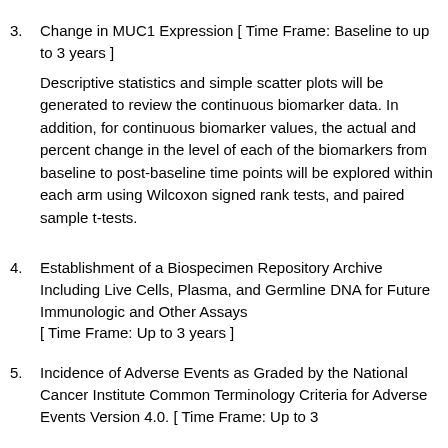3. Change in MUC1 Expression [ Time Frame: Baseline to up to 3 years ]

Descriptive statistics and simple scatter plots will be generated to review the continuous biomarker data. In addition, for continuous biomarker values, the actual and percent change in the level of each of the biomarkers from baseline to post-baseline time points will be explored within each arm using Wilcoxon signed rank tests, and paired sample t-tests.
4. Establishment of a Biospecimen Repository Archive Including Live Cells, Plasma, and Germline DNA for Future Immunologic and Other Assays [ Time Frame: Up to 3 years ]
5. Incidence of Adverse Events as Graded by the National Cancer Institute Common Terminology Criteria for Adverse Events Version 4.0. [ Time Frame: Up to 3